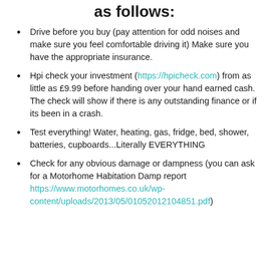as follows:
Drive before you buy (pay attention for odd noises and make sure you feel comfortable driving it) Make sure you have the appropriate insurance.
Hpi check your investment (https://hpicheck.com) from as little as £9.99 before handing over your hand earned cash. The check will show if there is any outstanding finance or if its been in a crash.
Test everything! Water, heating, gas, fridge, bed, shower, batteries, cupboards...Literally EVERYTHING
Check for any obvious damage or dampness (you can ask for a Motorhome Habitation Damp report https://www.motorhomes.co.uk/wp-content/uploads/2013/05/01052012104851.pdf)